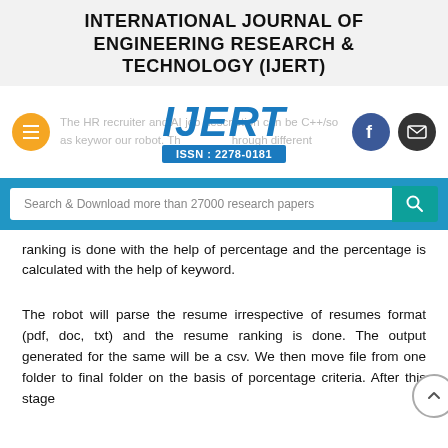INTERNATIONAL JOURNAL OF ENGINEERING RESEARCH & TECHNOLOGY (IJERT)
[Figure (logo): IJERT logo with ISSN 2278-0181, navigation buttons (hamburger, Facebook, email), faded background text about HR recruitment and keyword-based resume ranking]
[Figure (screenshot): Search bar with text 'Search & Download more than 27000 research papers' and teal search button]
ranking is done with the help of percentage and the percentage is calculated with the help of keyword.
The robot will parse the resume irrespective of resumes format (pdf, doc, txt) and the resume ranking is done. The output generated for the same will be a csv. We then move file from one folder to final folder on the basis of percentage criteria. After this stage